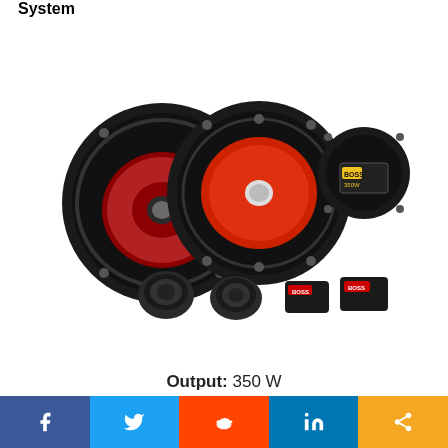System
[Figure (photo): Boss Audio component speaker system with two round speakers (one with red cone, one with black/red cone), two small tweeters, and two black crossover boxes.]
Output: 350 W
f  [twitter bird]  [reddit alien]  in  [share icon]